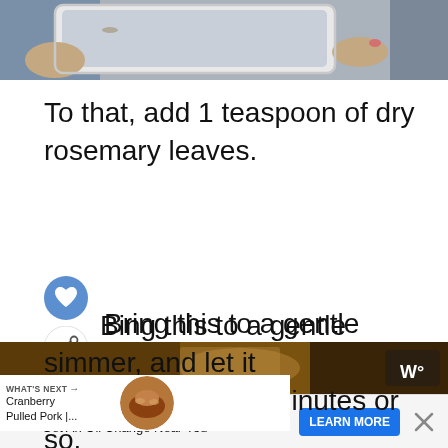[Figure (photo): Top portion of a photo showing hands holding a tablet/device, partially cropped]
To that, add 1 teaspoon of dry rosemary leaves.
[Figure (infographic): Heart/save button (blue circle with heart icon) and share button (white circle with share icon)]
Bring this to a gentle simmer, and let it cook for about 10 minutes or so.
[Figure (infographic): WHAT'S NEXT section with Cranberry Pulled Pork thumbnail and text 'Cranberry Pulled Pork |...']
[Figure (photo): Bottom portion of a food photo, brown/dark tones]
[Figure (infographic): Advertisement bar: Firestone - Get An Oil Change Near You - LEARN MORE button, with X close button]